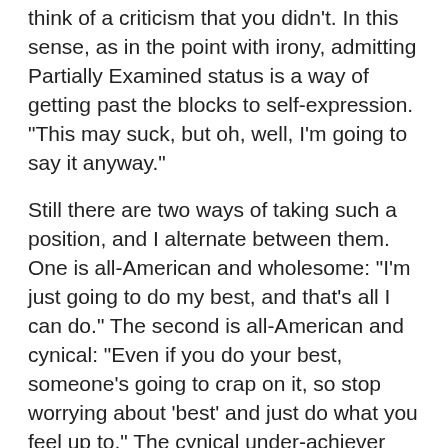think of a criticism that you didn't. In this sense, as in the point with irony, admitting Partially Examined status is a way of getting past the blocks to self-expression. "This may suck, but oh, well, I'm going to say it anyway."
Still there are two ways of taking such a position, and I alternate between them. One is all-American and wholesome: "I'm just going to do my best, and that's all I can do." The second is all-American and cynical: "Even if you do your best, someone's going to crap on it, so stop worrying about 'best' and just do what you feel up to." The cynical under-achiever was a key part of my media hero-worship as a kid, e.g. Bill Murray's characters in Stripes or Ghostbusters (and its derivatives, e.g. Steve Gutenberg in Police Academy or Val Kilmer in Real Genius or a hundred others). This American male archetype has now grown older and crotchety and just wants you to screw off and let him get through the day,